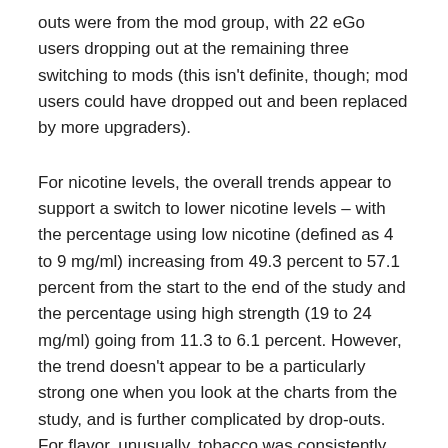outs were from the mod group, with 22 eGo users dropping out at the remaining three switching to mods (this isn't definite, though; mod users could have dropped out and been replaced by more upgraders).
For nicotine levels, the overall trends appear to support a switch to lower nicotine levels – with the percentage using low nicotine (defined as 4 to 9 mg/ml) increasing from 49.3 percent to 57.1 percent from the start to the end of the study and the percentage using high strength (19 to 24 mg/ml) going from 11.3 to 6.1 percent. However, the trend doesn't appear to be a particularly strong one when you look at the charts from the study, and is further complicated by drop-outs. For flavor, unusually, tobacco was consistently more popular than fruit or other flavors.